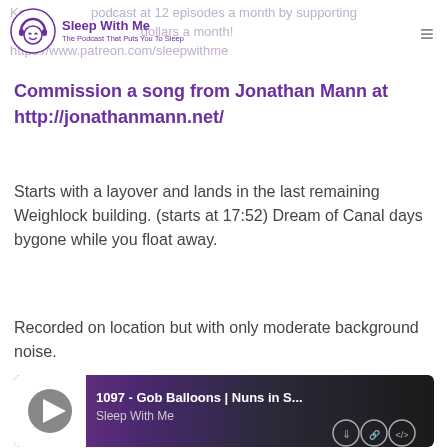Keep podcast at 12 episodes a month by supporting our Sleep With Me The Podcast That Puts You To Sleep dollars a month! https://www.patreon.com/sleepwithme
Commission a song from Jonathan Mann at http://jonathanmann.net/
Starts with a layover and lands in the last remaining Weighlock building. (starts at 17:52) Dream of Canal days bygone while you float away.
Recorded on location but with only moderate background noise.
[Figure (screenshot): Podcast audio player widget showing episode '1097 - Gob Balloons | Nuns in S...' from Sleep With Me podcast, with play button, download, link, and embed icons on a dark purple-to-grey gradient background.]